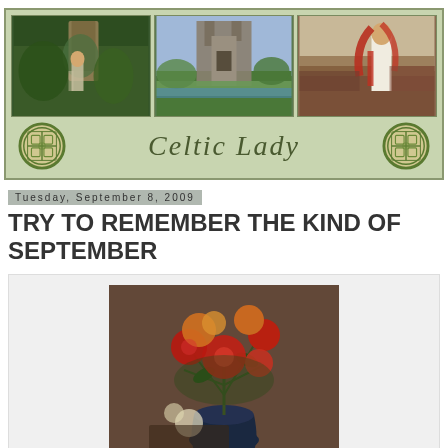[Figure (illustration): Celtic Lady blog header banner with three decorative photos (woman in garden, castle ruins, woman with red hair in white dress), Celtic knot medallions on left and right, and 'Celtic Lady' text in the center, all on a sage green background.]
Tuesday, September 8, 2009
TRY TO REMEMBER THE KIND OF SEPTEMBER
[Figure (photo): Painting or photograph of colorful autumn chrysanthemums in a dark vase, with red, orange, and yellow flowers.]